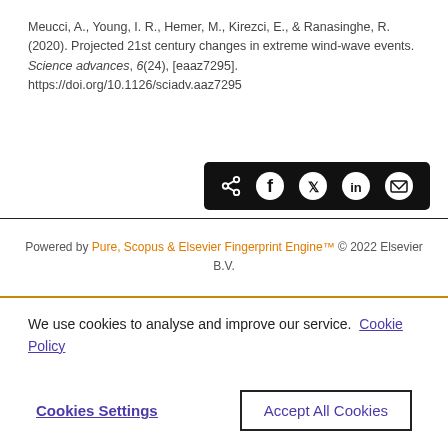Meucci, A., Young, I. R., Hemer, M., Kirezci, E., & Ranasinghe, R. (2020). Projected 21st century changes in extreme wind-wave events. Science advances, 6(24), [eaaz7295]. https://doi.org/10.1126/sciadv.aaz7295
[Figure (other): Social share buttons bar (share, Facebook, Twitter, LinkedIn, email icons) on dark background]
Powered by Pure, Scopus & Elsevier Fingerprint Engine™ © 2022 Elsevier B.V.
We use cookies to analyse and improve our service. Cookie Policy
Cookies Settings   Accept All Cookies